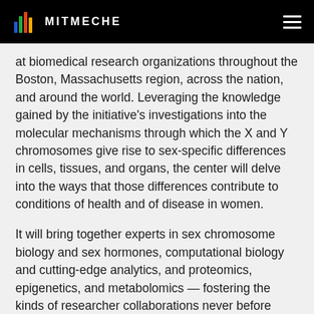MITMECHE
at biomedical research organizations throughout the Boston, Massachusetts region, across the nation, and around the world. Leveraging the knowledge gained by the initiative's investigations into the molecular mechanisms through which the X and Y chromosomes give rise to sex-specific differences in cells, tissues, and organs, the center will delve into the ways that those differences contribute to conditions of health and of disease in women.
It will bring together experts in sex chromosome biology and sex hormones, computational biology and cutting-edge analytics, and proteomics, epigenetics, and metabolomics — fostering the kinds of researcher collaborations never before undertaken and spurring new approaches to the many-variable problem inherent in sex differences research. The center will also pursue partnerships to translate and develop meaningful discoveries into clinical applications for diagnosing, preventing, and treating disease in women. Ultimately, Page envisions,